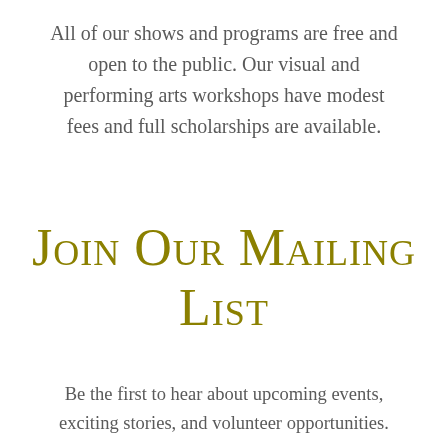All of our shows and programs are free and open to the public. Our visual and performing arts workshops have modest fees and full scholarships are available.
Join Our Mailing List
Be the first to hear about upcoming events, exciting stories, and volunteer opportunities.